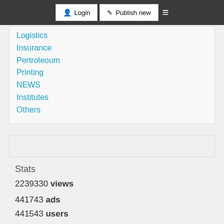Login  Publish new
Logistics
Insurance
Pertroleoum
Printing
NEWS
Institutes
Others
Stats
2239330 views
441743 ads
441543 users